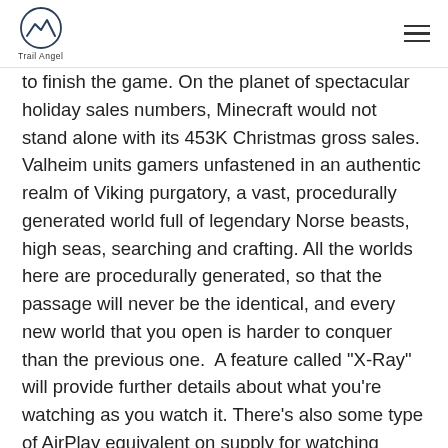Trail Angel
to finish the game. On the planet of spectacular holiday sales numbers, Minecraft would not stand alone with its 453K Christmas gross sales. Valheim units gamers unfastened in an authentic realm of Viking purgatory, a vast, procedurally generated world full of legendary Norse beasts, high seas, searching and crafting. All the worlds here are procedurally generated, so that the passage will never be the identical, and every new world that you open is harder to conquer than the previous one.  A feature called "X-Ray" will provide further details about what you're watching as you watch it. There's also some type of AirPlay equivalent on supply for watching slideshows of your tablet- and cloud-based photo collections. minecraft servers list I needed to borrow money to sort my bills out. The beta version of the map is offered for download now --